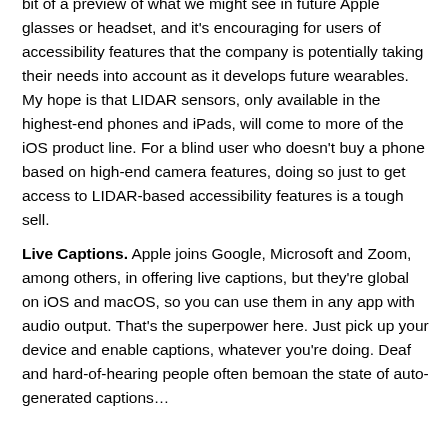bit of a preview of what we might see in future Apple glasses or headset, and it’s encouraging for users of accessibility features that the company is potentially taking their needs into account as it develops future wearables. My hope is that LIDAR sensors, only available in the highest-end phones and iPads, will come to more of the iOS product line. For a blind user who doesn’t buy a phone based on high-end camera features, doing so just to get access to LIDAR-based accessibility features is a tough sell.
Live Captions. Apple joins Google, Microsoft and Zoom, among others, in offering live captions, but they’re global on iOS and macOS, so you can use them in any app with audio output. That’s the superpower here. Just pick up your device and enable captions, whatever you’re doing. Deaf and hard-of-hearing people often bemoan the state of auto-generated captions...